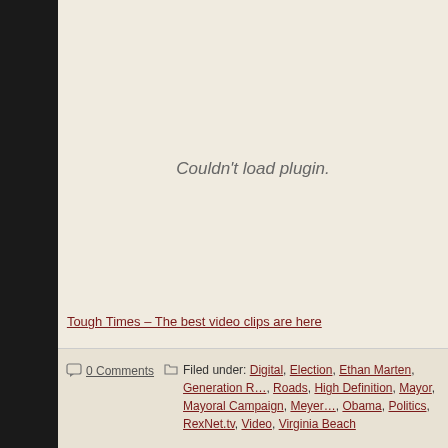[Figure (other): Plugin load failure area showing 'Couldn't load plugin.' message in gray italic text on a parchment-colored background]
Tough Times – The best video clips are here
0 Comments   Filed under: Digital, Election, Ethan Marten, Generation R…, Roads, High Definition, Mayor, Mayoral Campaign, Meyer…, Obama, Politics, RexNet.tv, Video, Virginia Beach